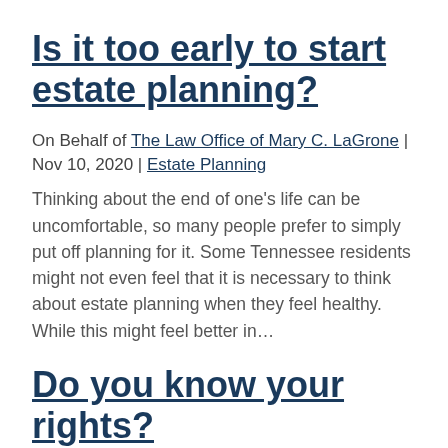Is it too early to start estate planning?
On Behalf of The Law Office of Mary C. LaGrone | Nov 10, 2020 | Estate Planning
Thinking about the end of one’s life can be uncomfortable, so many people prefer to simply put off planning for it. Some Tennessee residents might not even feel that it is necessary to think about estate planning when they feel healthy. While this might feel better in…
Do you know your rights?